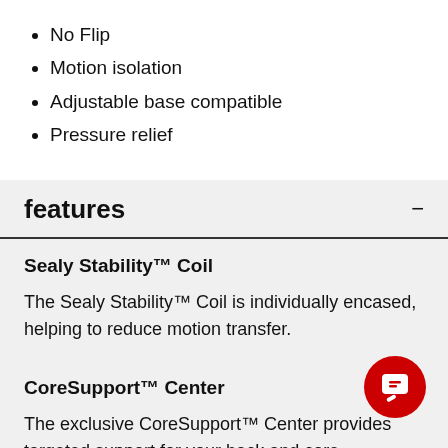No Flip
Motion isolation
Adjustable base compatible
Pressure relief
features
Sealy Stability™ Coil
The Sealy Stability™ Coil is individually encased, helping to reduce motion transfer.
CoreSupport™ Center
The exclusive CoreSupport™ Center provides targeted support for your back and core.
StableEdge™ Pro
With a stabilized, reinforced edge, you'll enjoy more